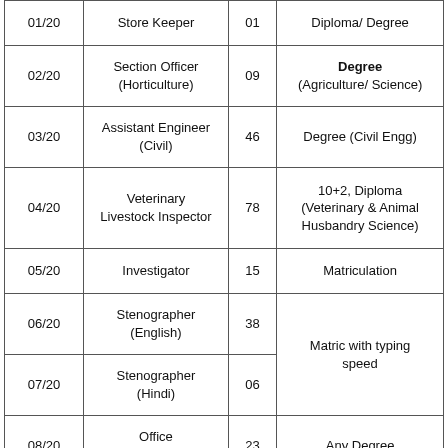| 01/20 | Store Keeper | 01 | Diploma/ Degree |
| 02/20 | Section Officer (Horticulture) | 09 | Degree (Agriculture/ Science) |
| 03/20 | Assistant Engineer (Civil) | 46 | Degree (Civil Engg) |
| 04/20 | Veterinary Livestock Inspector | 78 | 10+2, Diploma (Veterinary & Animal Husbandry Science) |
| 05/20 | Investigator | 15 | Matriculation |
| 06/20 | Stenographer (English) | 38 | Matric with typing speed |
| 07/20 | Stenographer (Hindi) | 06 | Matric with typing speed |
| 08/20 | Office Superintendent | 23 | Any Degree |
| 09/20 | Pharmacist | 15 | Matric with Diploma (Pharmacist) |